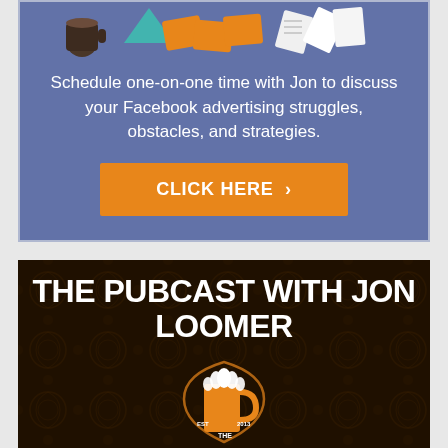[Figure (illustration): Illustration of people around a table with documents and coffee, on a blue background]
Schedule one-on-one time with Jon to discuss your Facebook advertising struggles, obstacles, and strategies.
CLICK HERE >
[Figure (illustration): The Pubcast with Jon Loomer banner with dark ornate background and beer mug logo]
THE PUBCAST WITH JON LOOMER